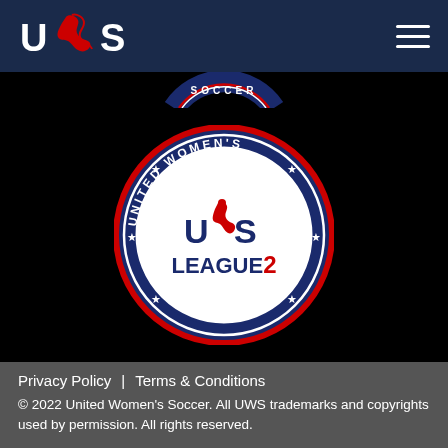[Figure (logo): UWS (United Women's Soccer) navigation logo in white and red on dark navy background, with hamburger menu icon on the right]
[Figure (logo): UWS League 2 United Women's Soccer circular badge logo — navy and red circular border with stars, white center, UWS text with stylized player graphic, LEAGUE 2 text, UNITED WOMEN'S top arc, SOCCER bottom arc, on black background]
Privacy Policy  |  Terms & Conditions
© 2022 United Women's Soccer. All UWS trademarks and copyrights used by permission. All rights reserved.